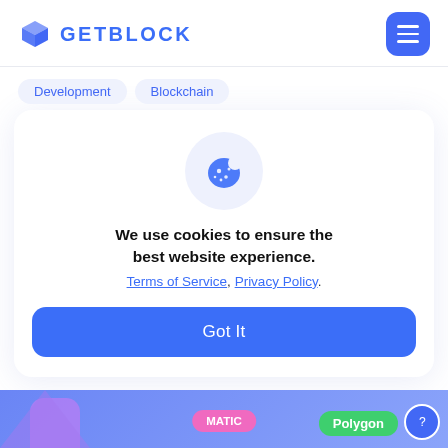GETBLOCK
Development  Blockchain
[Figure (illustration): Cookie consent dialog with palette/cookie icon, text 'We use cookies to ensure the best website experience. Terms of Service, Privacy Policy.' and a 'Got It' button]
We use cookies to ensure the best website experience. Terms of Service, Privacy Policy.
Got It
MATIC  Polygon